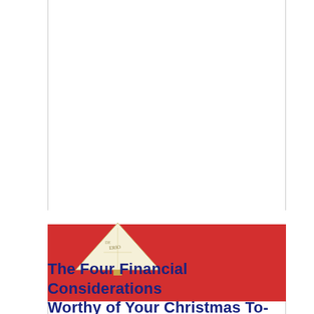[Figure (illustration): A red banner image showing a money bill folded into a Christmas tree shape (triangle) against a bright red background. The triangle/tree shape is centered-left and shows currency text details.]
The Four Financial Considerations Worthy of Your Christmas To-Do